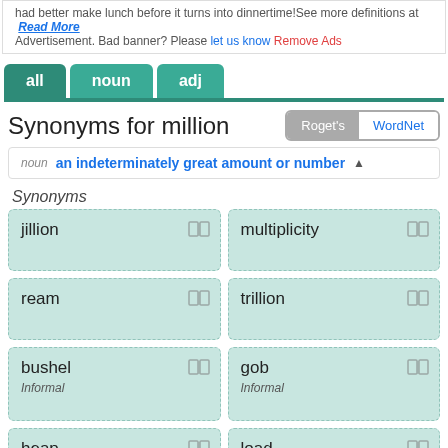had better make lunch before it turns into dinnertime!See more definitions at Read More
Advertisement. Bad banner? Please let us know Remove Ads
all | noun | adj
Synonyms for million
noun an indeterminately great amount or number ▲
Synonyms
jillion
multiplicity
ream
trillion
bushel
Informal
gob
Informal
heap
load